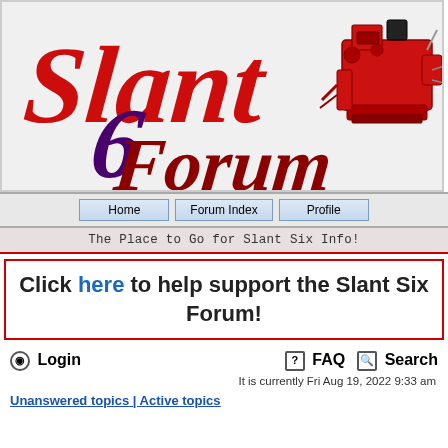[Figure (logo): Slant 6 Forum logo with red cursive 'Slant' text, dark purple '6', dark red cursive 'Forum' text, and a red engine illustration on the right]
[Figure (other): Navigation bar with Home, Forum Index, and Profile buttons]
The Place to Go for Slant Six Info!
Click here to help support the Slant Six Forum!
Login
FAQ
Search
It is currently Fri Aug 19, 2022 9:33 am
Unanswered topics | Active topics